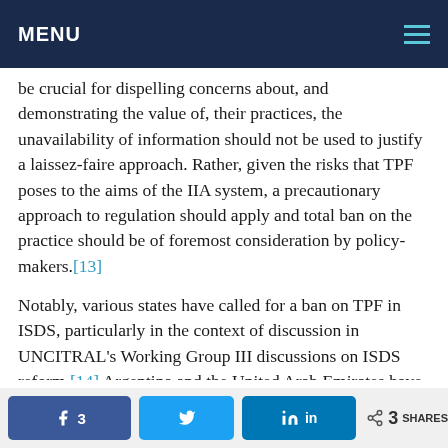MENU
be crucial for dispelling concerns about, and demonstrating the value of, their practices, the unavailability of information should not be used to justify a laissez-faire approach. Rather, given the risks that TPF poses to the aims of the IIA system, a precautionary approach to regulation should apply and total ban on the practice should be of foremost consideration by policy-makers.[13]
Notably, various states have called for a ban on TPF in ISDS, particularly in the context of discussion in UNCITRAL’s Working Group III discussions on ISDS reform.[14] Argentina and the United Arab Emirates have gone one step further and actually included a ban in their 2019 BIT.[15] The United
3 SHARES